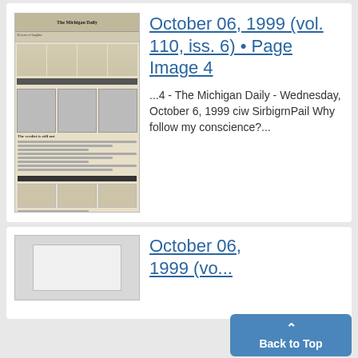[Figure (photo): Thumbnail image of a newspaper page from The Michigan Daily]
October 06, 1999 (vol. 110, iss. 6) • Page Image 4
...4 - The Michigan Daily - Wednesday, October 6, 1999 ciw SirbigrnPail Why follow my conscience?...
[Figure (photo): Thumbnail image of a second newspaper page, partially visible]
October 06, 1999 (vol. ...